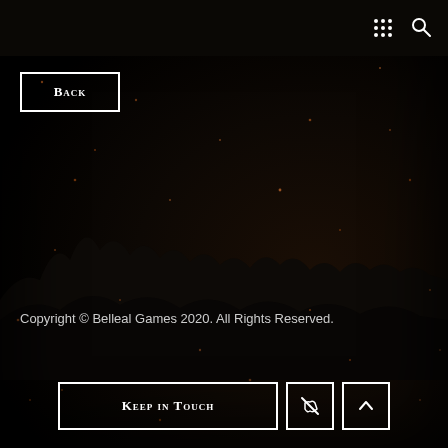[Figure (screenshot): Dark game UI background with a forest silhouette at night, scattered warm-toned particles/speckles on a near-black background]
⠿ 🔍
Back
Copyright © Belleal Games 2020. All Rights Reserved.
Keep in Touch